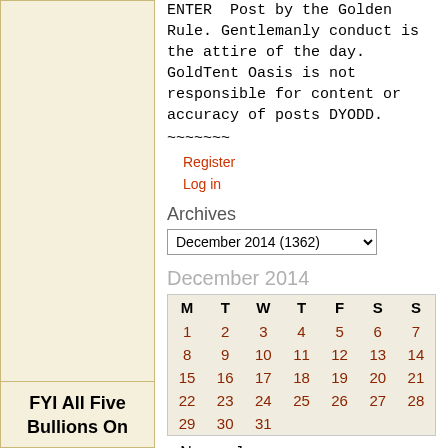ENTER  Post by the Golden Rule. Gentlemanly conduct is the attire of the day. GoldTent Oasis is not responsible for content or accuracy of posts DYODD. ~~~~~~~
Register
Log in
Archives
December 2014  (1362)
| M | T | W | T | F | S | S |
| --- | --- | --- | --- | --- | --- | --- |
| 1 | 2 | 3 | 4 | 5 | 6 | 7 |
| 8 | 9 | 10 | 11 | 12 | 13 | 14 |
| 15 | 16 | 17 | 18 | 19 | 20 | 21 |
| 22 | 23 | 24 | 25 | 26 | 27 | 28 |
| 29 | 30 | 31 |  |  |  |  |
« Nov    Jan »
MENU
Home Page
Forum
Bottom of Page
Grin How To Post Media
FYI All Five Bullions On